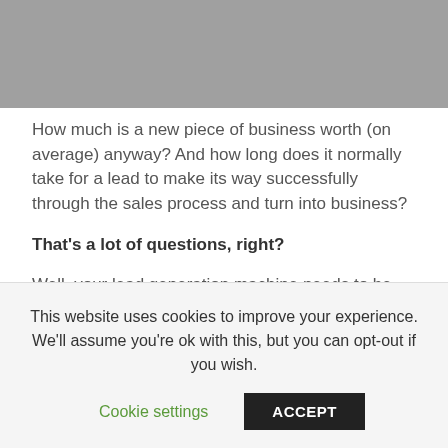[Figure (photo): Partial image at top of page, appears gray/placeholder]
How much is a new piece of business worth (on average) anyway? And how long does it normally take for a lead to make its way successfully through the sales process and turn into business?
That's a lot of questions, right?
Well, your lead generation machine needs to be built with consideration given to the ACCURATE answers to all of these questions (and probably a few more beside) to be in
This website uses cookies to improve your experience. We'll assume you're ok with this, but you can opt-out if you wish.
Cookie settings    ACCEPT